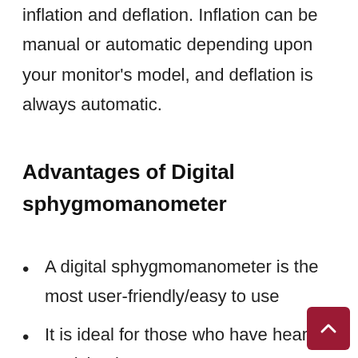inflation and deflation. Inflation can be manual or automatic depending upon your monitor's model, and deflation is always automatic.
Advantages of Digital sphygmomanometer
A digital sphygmomanometer is the most user-friendly/easy to use
It is ideal for those who have hearing or vision loss